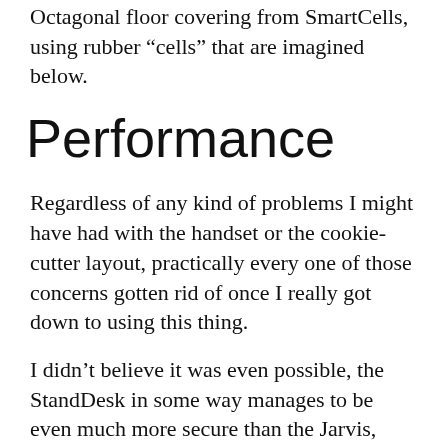Octagonal floor covering from SmartCells, using rubber “cells” that are imagined below.
Performance
Regardless of any kind of problems I might have had with the handset or the cookie-cutter layout, practically every one of those concerns gotten rid of once I really got down to using this thing.
I didn’t believe it was even possible, the StandDesk in some way manages to be even much more secure than the Jarvis, both at resting and also standing elevations. Most days I such as to run my Jarvis at max height while pushed against my wall surface; not always because it’s that wobbly, yet even if I